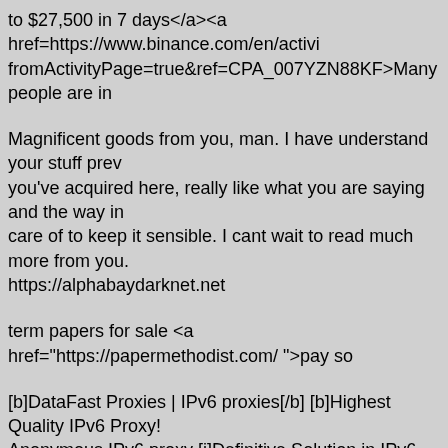to $27,500 in 7 days</a><a href=https://www.binance.com/en/activi fromActivityPage=true&ref=CPA_007YZN88KF>Many people are in
Magnificent goods from you, man. I have understand your stuff prev you've acquired here, really like what you are saying and the way in care of to keep it sensible. I cant wait to read much more from you. https://alphabaydarknet.net
term papers for sale <a href="https://papermethodist.com/ ">pay so
[b]DataFast Proxies | IPv6 proxies[/b] [b]Highest Quality IPv6 Proxy! Anonymous IPv6 proxy [i]Definitive Solution in IPv6 Proxy Agent![/i]
term papers for sale <a href="https://papermethodist.com/ ">pay so
[url=https://www.youtube.com/watch?v=G1n69Gki1Io] Video Gadget tech, innovation, Smart, designer jewelry, wearable electronics[/url]
<a href="https://www.adrcrta.com/white-fitted-boston-red-sox-hat-ha href="https://www.malabarcet.com/jordan-hat-pins-2014-hande">jor href="https://www.gayello.com/stilettos-red-sole-louboutinr">stilettos maxi-dress-dressfr0">akela maxi dress</a> <a href="https://www.cia flex experience black and pink</a> <a href="https://www.studiogors midi dress</a> gayello http://www.gayello.com/
buy term paper <a href="https://papermethodist.com/ ">best resume